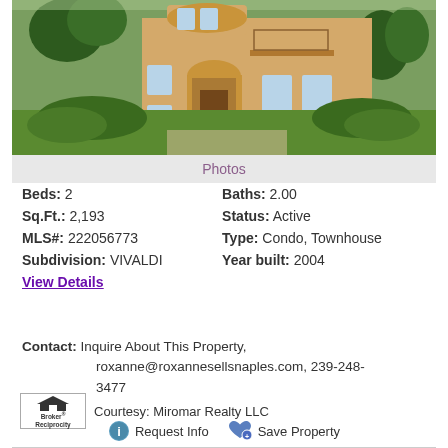[Figure (photo): Exterior photo of a two-story Mediterranean-style condo/townhouse with tan stucco exterior, arched entryways, balcony, and surrounding green landscaping and lawn]
Photos
Beds: 2    Baths: 2.00
Sq.Ft.: 2,193    Status: Active
MLS#: 222056773    Type: Condo, Townhouse
Subdivision: VIVALDI    Year built: 2004
View Details
Contact: Inquire About This Property, roxanne@roxannesellsnaples.com, 239-248-3477
Courtesy: Miromar Realty LLC
Request Info    Save Property